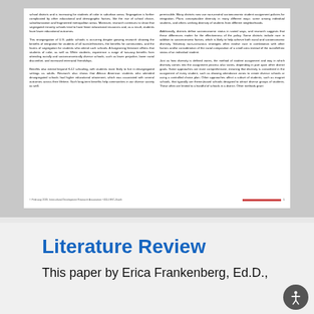[Figure (screenshot): Scanned document page showing two columns of text about school segregation and integration, with a footer line and page number. Left column discusses resegregation, benefits of integration, and long-term outcomes. Right column discusses race-neutral socioeconomic policies, diversity definitions, and student assignment methods.]
Literature Review
This paper by Erica Frankenberg, Ed.D.,